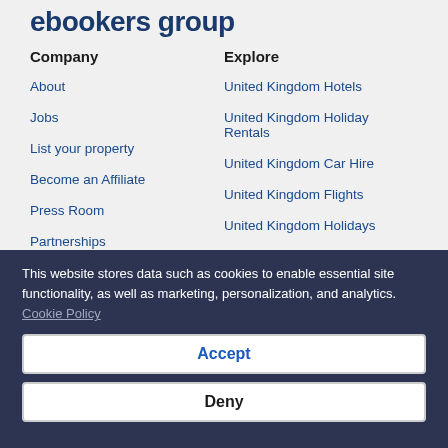ebookers group
Company
About
Jobs
List your property
Become an Affiliate
Press Room
Partnerships
Investor Relations
Explore
United Kingdom Hotels
United Kingdom Holiday Rentals
United Kingdom Car Hire
United Kingdom Flights
United Kingdom Holidays
Unique Accommodations
ebookers Reviews
This website stores data such as cookies to enable essential site functionality, as well as marketing, personalization, and analytics. Cookie Policy
Accept
Deny